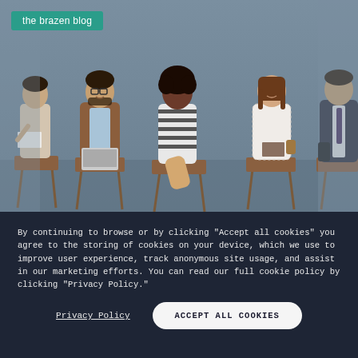[Figure (photo): Group of five young professionals sitting on chairs in a row against a gray-blue wall, appearing to be waiting for interviews. From left: a woman looking at papers, a man in a brown blazer with a laptop smiling, a woman in a striped top smiling, a woman in a white lace top holding a book and coffee, and a man in a dark suit partially visible. A teal 'the brazen blog' badge is overlaid in the top-left corner.]
By continuing to browse or by clicking "Accept all cookies" you agree to the storing of cookies on your device, which we use to improve user experience, track anonymous site usage, and assist in our marketing efforts. You can read our full cookie policy by clicking "Privacy Policy."
Privacy Policy
ACCEPT ALL COOKIES